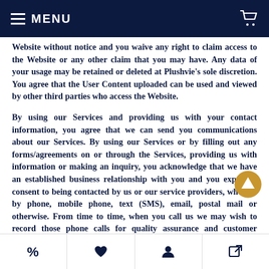MENU
Website without notice and you waive any right to claim access to the Website or any other claim that you may have. Any data of your usage may be retained or deleted at Plushvie's sole discretion. You agree that the User Content uploaded can be used and viewed by other third parties who access the Website.
By using our Services and providing us with your contact information, you agree that we can send you communications about our Services. By using our Services or by filling out any forms/agreements on or through the Services, providing us with information or making an inquiry, you acknowledge that we have an established business relationship with you and you expressly consent to being contacted by us or our service providers, whether by phone, mobile phone, text (SMS), email, postal mail or otherwise. From time to time, when you call us we may wish to record those phone calls for quality assurance and customer satisfaction purposes. In those jurisdictions where consent is required in order for a party to record any telephone call, you consent for us to record your call when you call us.
% ♥ person external-link